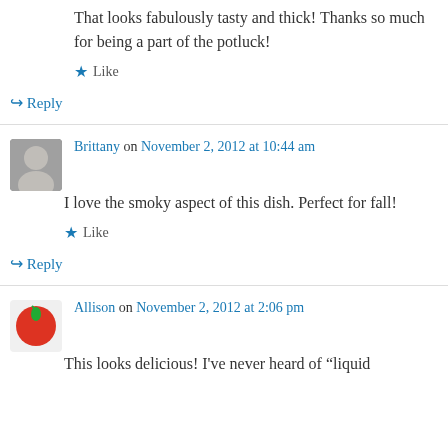That looks fabulously tasty and thick! Thanks so much for being a part of the potluck!
★ Like
↪ Reply
Brittany on November 2, 2012 at 10:44 am
I love the smoky aspect of this dish. Perfect for fall!
★ Like
↪ Reply
Allison on November 2, 2012 at 2:06 pm
This looks delicious! I've never heard of "liquid